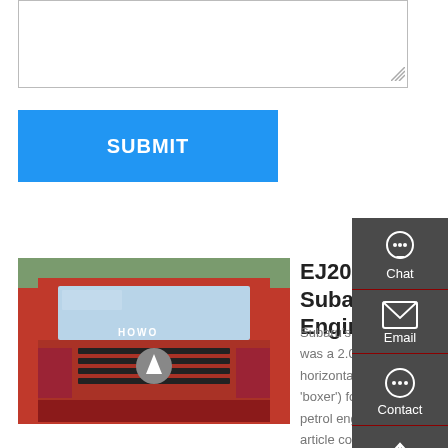[Figure (screenshot): Textarea input box at top of page]
SUBMIT
[Figure (photo): Red Howo truck front view]
EJ20J Subaru Engine
Subaru's EJ20J engine was a 2.0-litre, horizontally-opposed (or 'boxer') four-cylinder petrol engine. This article considers the naturally aspirated, EJ20J Phase